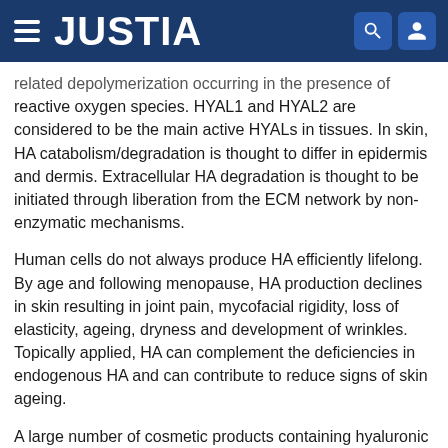JUSTIA
related depolymerization occurring in the presence of reactive oxygen species. HYAL1 and HYAL2 are considered to be the main active HYALs in tissues. In skin, HA catabolism/degradation is thought to differ in epidermis and dermis. Extracellular HA degradation is thought to be initiated through liberation from the ECM network by non-enzymatic mechanisms.
Human cells do not always produce HA efficiently lifelong. By age and following menopause, HA production declines in skin resulting in joint pain, mycofacial rigidity, loss of elasticity, ageing, dryness and development of wrinkles. Topically applied, HA can complement the deficiencies in endogenous HA and can contribute to reduce signs of skin ageing.
A large number of cosmetic products containing hyaluronic acid are available on the market such as for